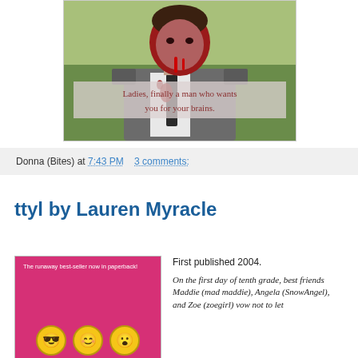[Figure (photo): Photo of a zombie man in a suit with a bloody head, outdoors with green background. Overlay text reads: Ladies, finally a man who wants you for your brains.]
Donna (Bites) at 7:43 PM   3 comments:
ttyl by Lauren Myracle
[Figure (photo): Book cover of ttyl by Lauren Myracle - hot pink cover with three yellow smiley face emojis wearing glasses, halo, and surprised expression. Text at top: The runaway best-seller now in paperback!]
First published 2004.

On the first day of tenth grade, best friends Maddie (mad maddie), Angela (SnowAngel), and Zoe (zoegirl) vow not to let